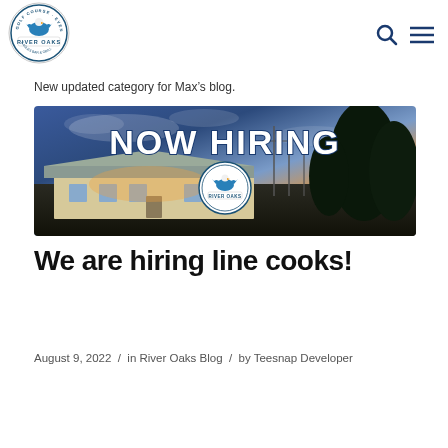[Figure (logo): River Oaks Golf Course Event Center circular logo with eagle/bird graphic and text]
New updated category for Max’s blog.
[Figure (photo): NOW HIRING banner image with River Oaks logo over a sunset photo of the River Oaks Golf Course clubhouse building with dramatic sky]
We are hiring line cooks!
August 9, 2022 / in River Oaks Blog / by Teesnap Developer